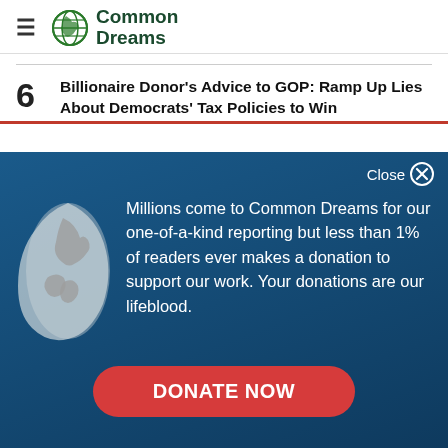Common Dreams
6 Billionaire Donor's Advice to GOP: Ramp Up Lies About Democrats' Tax Policies to Win
Close
Millions come to Common Dreams for our one-of-a-kind reporting but less than 1% of readers ever makes a donation to support our work. Your donations are our lifeblood.
DONATE NOW